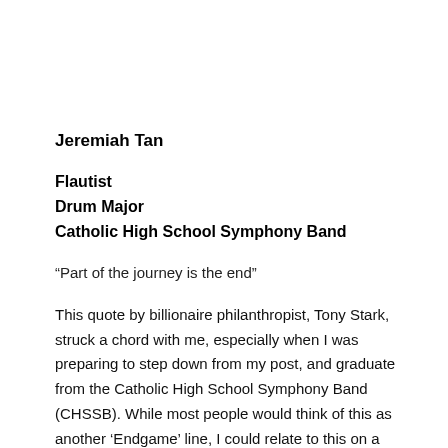Jeremiah Tan
Flautist
Drum Major
Catholic High School Symphony Band
“Part of the journey is the end”
This quote by billionaire philanthropist, Tony Stark, struck a chord with me, especially when I was preparing to step down from my post, and graduate from the Catholic High School Symphony Band (CHSSB). While most people would think of this as another ‘Endgame’ line, I could relate to this on a more personal level, specifically my band journey the CHSSB. I feel that this pretty much sums up my